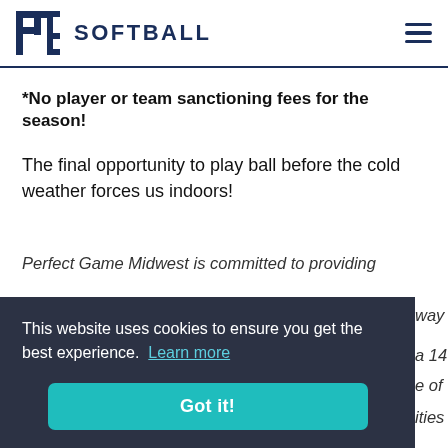PG SOFTBALL
*No player or team sanctioning fees for the season!
The final opportunity to play ball before the cold weather forces us indoors!
Perfect Game Midwest is committed to providing
This website uses cookies to ensure you get the best experience. Learn more
Got it!